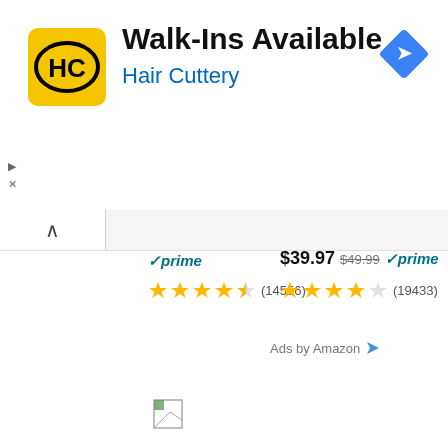[Figure (screenshot): Hair Cuttery advertisement banner with HC logo (yellow square with HC text), title 'Walk-Ins Available', subtitle 'Hair Cuttery', and a blue navigation diamond icon on the right]
Walk-Ins Available
Hair Cuttery
prime (14556) — left product
$39.97 $49.99 prime (19433) — right product
Ads by Amazon